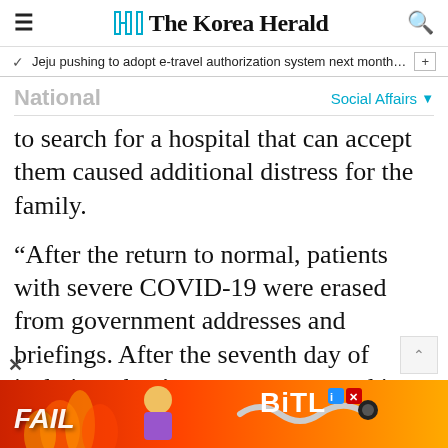The Korea Herald
Jeju pushing to adopt e-travel authorization system next month f…
National
Social Affairs
to search for a hospital that can accept them caused additional distress for the family.
“After the return to normal, patients with severe COVID-19 were erased from government addresses and briefings. After the seventh day of isolation, they’re not even counted in the official statistics as a hospitalization or fatality.”
[Figure (illustration): Advertisement banner for BitLife mobile game with fire background, FAIL text, animated character, BitLife logo and START A NEW LIFE text]